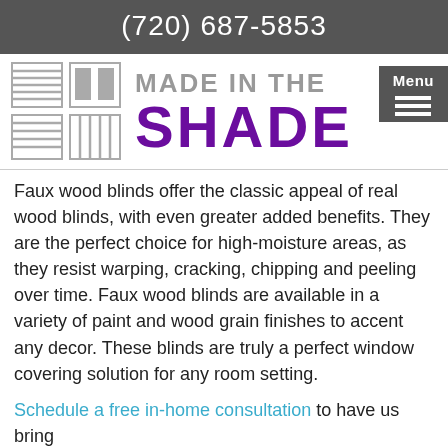(720) 687-5853
[Figure (logo): Made In The Shade logo with grid of blind icons on left and text 'MADE IN THE SHADE' on right, purple and gray colors, with gray Menu button overlay]
Faux wood blinds offer the classic appeal of real wood blinds, with even greater added benefits. They are the perfect choice for high-moisture areas, as they resist warping, cracking, chipping and peeling over time. Faux wood blinds are available in a variety of paint and wood grain finishes to accent any decor. These blinds are truly a perfect window covering solution for any room setting.
Schedule a free in-home consultation to have us bring